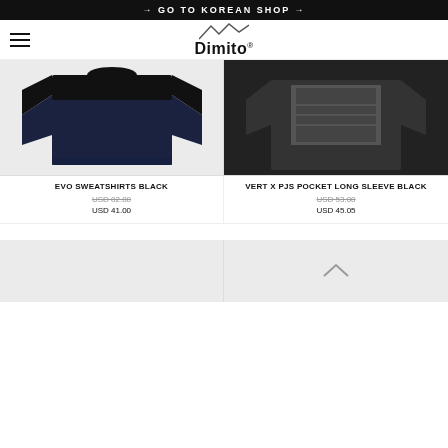→ GO TO KOREAN SHOP →
[Figure (logo): Dimito brand logo with mountain outline above text]
[Figure (photo): EVO Sweatshirts Black product photo - dark navy/black colorblock sweatshirt]
[Figure (photo): VERT X PJS Pocket Long Sleeve Black product photo - black long sleeve with graphic print]
EVO SWEATSHIRTS BLACK
USD 82.00
USD 41.00
VERT X PJS POCKET LONG SLEEVE BLACK
USD 53.00
USD 45.05
[Figure (photo): Bottom left product image placeholder]
[Figure (photo): Bottom right product area with scroll-up arrow]